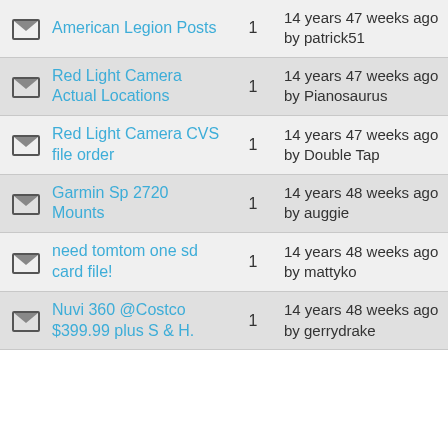|  | Topic | Replies | Last Post | Last Reply |
| --- | --- | --- | --- | --- |
| ✉ | American Legion Posts | 1 | 14 years 47 weeks ago by patrick51 | 14 ye by m |
| ✉ | Red Light Camera Actual Locations | 1 | 14 years 47 weeks ago by Pianosaurus | 14 ye by JM |
| ✉ | Red Light Camera CVS file order | 1 | 14 years 47 weeks ago by Double Tap | 14 ye by JM |
| ✉ | Garmin Sp 2720 Mounts | 1 | 14 years 48 weeks ago by auggie | 14 ye by jcg |
| ✉ | need tomtom one sd card file! | 1 | 14 years 48 weeks ago by mattyko | 14 ye by Mi |
| ✉ | Nuvi 360 @Costco $399.99 plus S & H. | 1 | 14 years 48 weeks ago by gerrydrake | 14 ye by an |